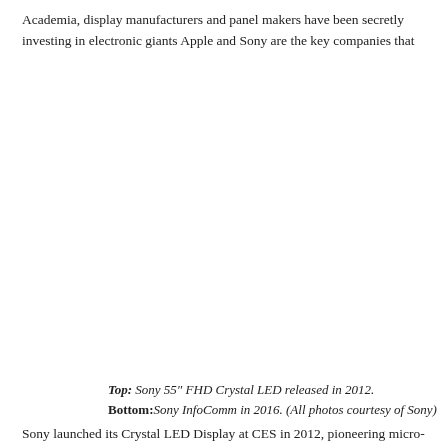Academia, display manufacturers and panel makers have been secretly investing in micro-LED technology. Consumer electronic giants Apple and Sony are the key companies that spurred the commercialization of micro-LEDs.
[Figure (photo): Images showing Sony Crystal LED displays: Top: Sony 55" FHD Crystal LED released in 2012. Bottom: Sony Crystal LED display demonstrated at InfoComm in 2016. All photos courtesy of Sony.]
Top: Sony 55" FHD Crystal LED released in 2012. Bottom: Sony Crystal LED display demonstrated at InfoComm in 2016. (All photos courtesy of Sony)
Sony launched its Crystal LED Display at CES in 2012, pioneering micro-LED and